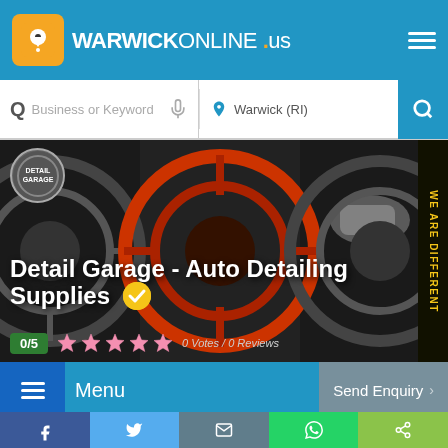WARWICKONLINE.us
Business or Keyword | Warwick (RI)
Detail Garage - Auto Detailing Supplies
0/5 | 0 Votes / 0 Reviews
Menu
Send Enquiry
We are different
Facebook | Twitter | Email | WhatsApp | Share